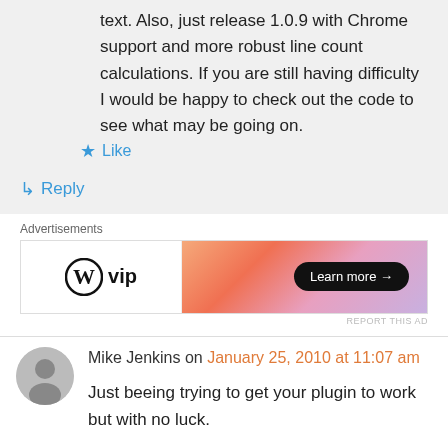text. Also, just release 1.0.9 with Chrome support and more robust line count calculations. If you are still having difficulty I would be happy to check out the code to see what may be going on.
★ Like
↳ Reply
Advertisements
[Figure (screenshot): WordPress VIP advertisement banner with 'Learn more →' button on a colorful gradient background]
REPORT THIS AD
Mike Jenkins on January 25, 2010 at 11:07 am
Just beeing trying to get your plugin to work but with no luck.